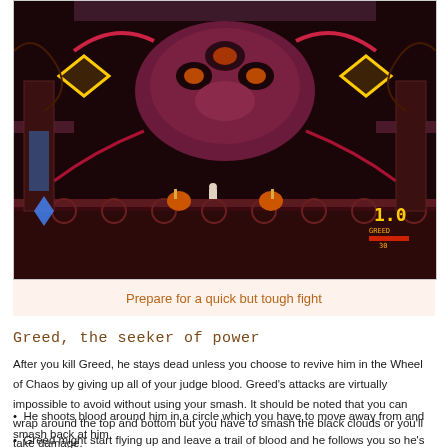[Figure (screenshot): Video game screenshot showing a boss fight scene with a dark, gothic-themed level. A large mechanical skull-like boss enemy is visible at the top center with glowing yellow diamond shapes. The scene is dark with red and purple tones. HUD elements show '1.0' score in the bottom right.]
Prepare for a quick but tough fight
Greed, the seeker of power
After you kill Greed, he stays dead unless you choose to revive him in the Wheel of Chaos by giving up all of your judge blood. Greed’s attacks are virtually impossible to avoid without using your smash. It should be noted that you can wrap around the top and bottom but you have to smash the black clouds or you’ll take damage.
He shoots blood around him in a circle which you have to move away from and smash back at him
Greed might start flying up and leave a trail of blood and he follows you so he’s only avoidable if you dash
When the I appears, Greed fires 2 cross grenades